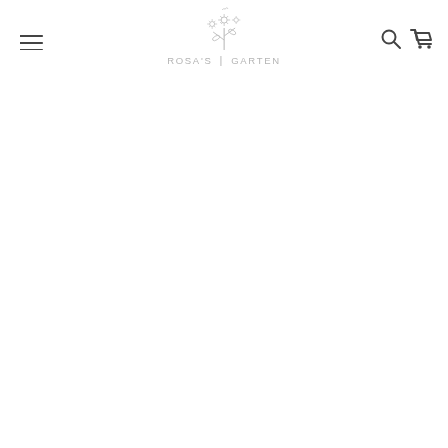[Figure (logo): Rosa's Garten logo: a delicate botanical illustration of wildflowers/daisy bouquet in light gray above the text 'ROSA'S | GARTEN' in spaced light gray capitals, flanked by a hamburger menu icon on the left and search and cart icons on the right.]